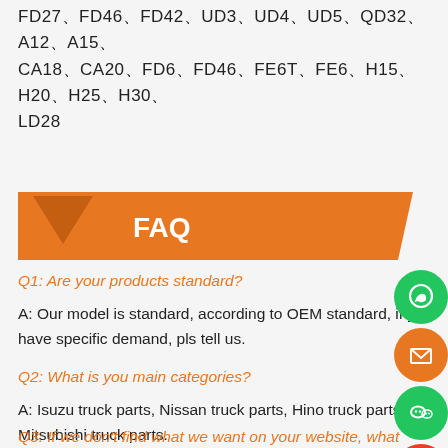FD27、FD46、FD42、UD3、UD4、UD5、QD32、A12、A15、CA18、CA20、FD6、FD46、FE6T、FE6、H15、H20、H25、H30、LD28
[Figure (infographic): Orange FAQ banner with triangle/chevron shape on left and 'FAQ' text in white bold on orange ribbon background]
Q1: Are your products standard?
A: Our model is standard, according to OEM standard. If you have specific demand, pls tell us.
Q2: What is you main categories?
A: Isuzu truck parts, Nissan truck parts, Hino truck parts, Mitsubishi truck parts.
Q3: If we don't find what we want on your website, what